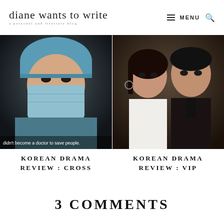diane wants to write — a personal and lifestyle blog | MENU
[Figure (photo): Korean drama still showing a person wearing a surgical mask and scrubs, with subtitle text 'didn't become a doctor to save people.']
[Figure (photo): Korean drama promotional photo showing a woman and man in formal attire looking seriously at camera]
KOREAN DRAMA REVIEW : CROSS
KOREAN DRAMA REVIEW : VIP
3 COMMENTS